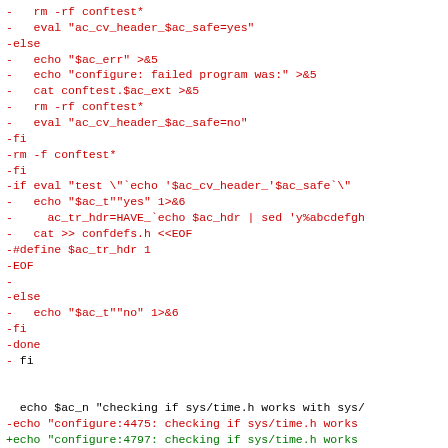Code diff showing shell script changes for autoconf configure script, with removed lines in red and added lines in green.